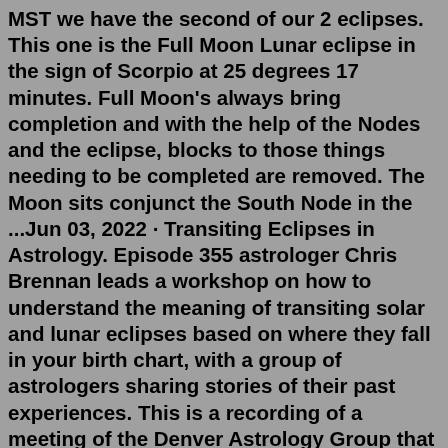MST we have the second of our 2 eclipses. This one is the Full Moon Lunar eclipse in the sign of Scorpio at 25 degrees 17 minutes. Full Moon's always bring completion and with the help of the Nodes and the eclipse, blocks to those things needing to be completed are removed. The Moon sits conjunct the South Node in the ...Jun 03, 2022 · Transiting Eclipses in Astrology. Episode 355 astrologer Chris Brennan leads a workshop on how to understand the meaning of transiting solar and lunar eclipses based on where they fall in your birth chart, with a group of astrologers sharing stories of their past experiences. This is a recording of a meeting of the Denver Astrology Group that ... Second and Eighth House (or Taurus-Scorpio) An eclipse in the second house hits on material realities — money, what you own or owe, what you've built (symbolically) with your own two hands. A crisis here could shake you at your base. Perhaps your finances and possessions that you see as what makes you, you are destabilized.A total lunar eclipse will occur on 21st January 2019 in one the...